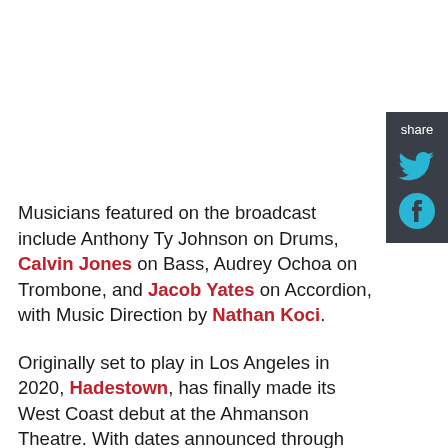[Figure (other): Share sidebar with Twitter and Facebook icons on dark grey background]
Musicians featured on the broadcast include Anthony Ty Johnson on Drums, Calvin Jones on Bass, Audrey Ochoa on Trombone, and Jacob Yates on Accordion, with Music Direction by Nathan Koci.
Originally set to play in Los Angeles in 2020, Hadestown, has finally made its West Coast debut at the Ahmanson Theatre. With dates announced through summer 2023, the North American tour will play cities including San Francisco, Seattle, Costa Mesa, Las Vegas, Denver, Austin, Nashville, Miami